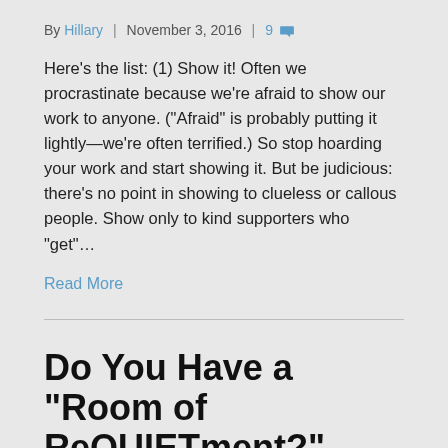By Hillary  |  November 3, 2016  |  9 [comment icon]
Here’s the list: (1) Show it! Often we procrastinate because we’re afraid to show our work to anyone. (“Afraid” is probably putting it lightly—we’re often terrified.) So stop hoarding your work and start showing it. But be judicious: there’s no point in showing to clueless or callous people. Show only to kind supporters who “get”…
Read More
Do You Have a “Room of ReQUIETment?”
By Hillary  |  October 28, 2016  |  0 [comment icon]